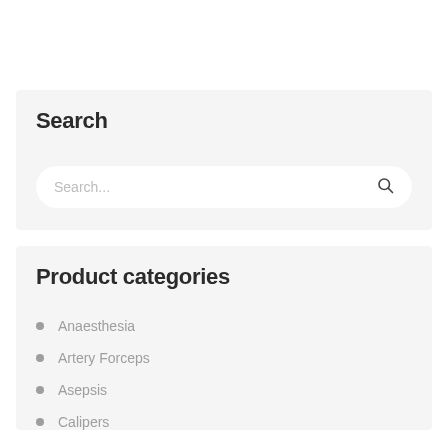Search
Search...
Product categories
Anaesthesia
Artery Forceps
Asepsis
Calipers